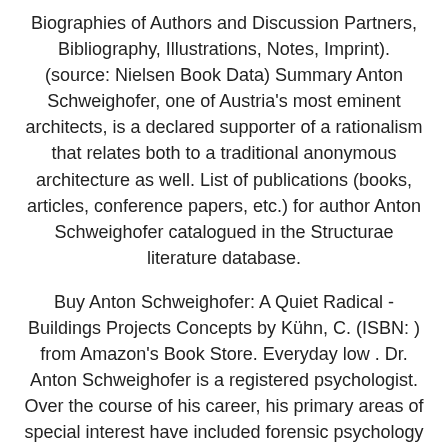Biographies of Authors and Discussion Partners, Bibliography, Illustrations, Notes, Imprint). (source: Nielsen Book Data) Summary Anton Schweighofer, one of Austria's most eminent architects, is a declared supporter of a rationalism that relates both to a traditional anonymous architecture as well. List of publications (books, articles, conference papers, etc.) for author Anton Schweighofer catalogued in the Structurae literature database.
Buy Anton Schweighofer: A Quiet Radical - Buildings Projects Concepts by Kühn, C. (ISBN: ) from Amazon's Book Store. Everyday low . Dr. Anton Schweighofer is a registered psychologist. Over the course of his career, his primary areas of special interest have included forensic psychology and addictions. Since becoming registered, Anton has worked in a variety of settings including the